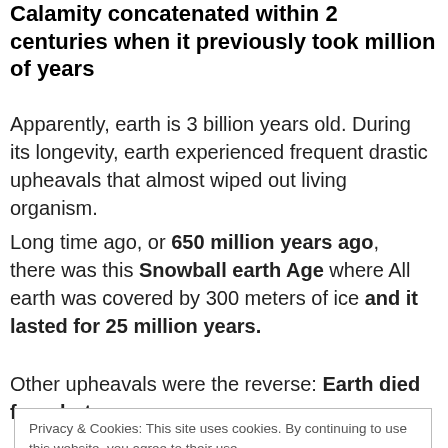Calamity concatenated within 2 centuries when it previously took million of years
Apparently, earth is 3 billion years old. During its longevity, earth experienced frequent drastic upheavals that almost wiped out living organism.
Long time ago, or 650 million years ago, there was this Snowball earth Age where All earth was covered by 300 meters of ice and it lasted for 25 million years.
Other upheavals were the reverse: Earth died from hot
Privacy & Cookies: This site uses cookies. By continuing to use this website, you agree to their use.
To find out more, including how to control cookies, see here: Cookie Policy
Close and accept